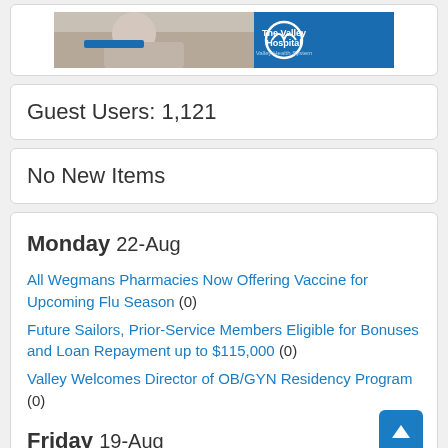[Figure (photo): The Valley Hospital banner image with a photo of a nurse and patient on the left and blue logo area on the right]
Guest Users: 1,121
No New Items
Monday 22-Aug
All Wegmans Pharmacies Now Offering Vaccine for Upcoming Flu Season (0)
Future Sailors, Prior-Service Members Eligible for Bonuses and Loan Repayment up to $115,000 (0)
Valley Welcomes Director of OB/GYN Residency Program (0)
Friday 19-Aug